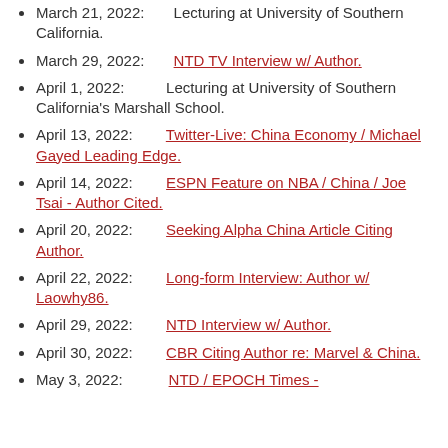March 21, 2022: Lecturing at University of Southern California.
March 29, 2022: NTD TV Interview w/ Author.
April 1, 2022: Lecturing at University of Southern California's Marshall School.
April 13, 2022: Twitter-Live: China Economy / Michael Gayed Leading Edge.
April 14, 2022: ESPN Feature on NBA / China / Joe Tsai - Author Cited.
April 20, 2022: Seeking Alpha China Article Citing Author.
April 22, 2022: Long-form Interview: Author w/ Laowhy86.
April 29, 2022: NTD Interview w/ Author.
April 30, 2022: CBR Citing Author re: Marvel & China.
May 3, 2022: NTD / EPOCH Times -